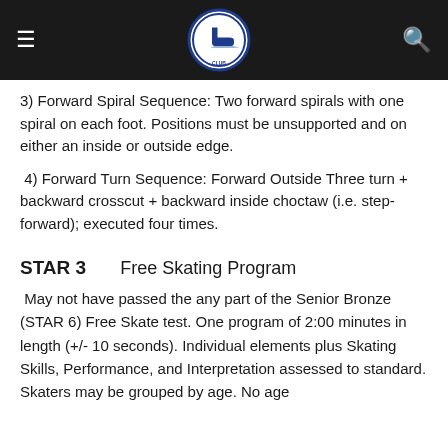[Navigation header with logo]
3) Forward Spiral Sequence: Two forward spirals with one spiral on each foot. Positions must be unsupported and on either an inside or outside edge.
4) Forward Turn Sequence: Forward Outside Three turn + backward crosscut + backward inside choctaw (i.e. step-forward); executed four times.
STAR 3    Free Skating Program
May not have passed the any part of the Senior Bronze (STAR 6) Free Skate test. One program of 2:00 minutes in length (+/- 10 seconds). Individual elements plus Skating Skills, Performance, and Interpretation assessed to standard. Skaters may be grouped by age. No age